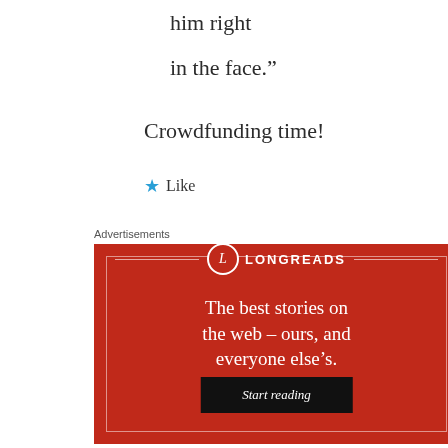him right
in the face.”
Crowdfunding time!
★ Like
Advertisements
[Figure (other): Longreads advertisement banner with red background, logo, tagline 'The best stories on the web – ours, and everyone else’s.' and a Start reading button]